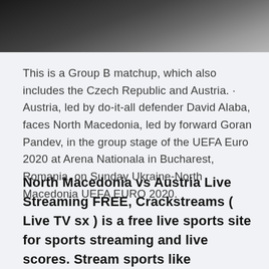[Figure (photo): Partial photo of a dark, dimly lit scene, cropped at the top of the page]
This is a Group B matchup, which also includes the Czech Republic and Austria. · Austria, led by do-it-all defender David Alaba, faces North Macedonia, led by forward Goran Pandev, in the group stage of the UEFA Euro 2020 at Arena Nationala in Bucharest, Romania, on Sunday Ukraine-North Macedonia UEFA EURO 2020.
North Macedonia vs Austria Live Streaming FREE, Crackstreams ( Live TV sx ) is a free live sports site for sports streaming and live scores. Stream sports like